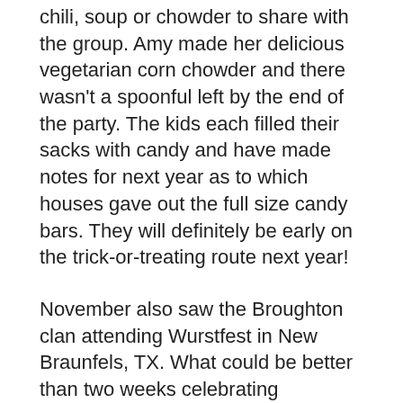chili, soup or chowder to share with the group. Amy made her delicious vegetarian corn chowder and there wasn't a spoonful left by the end of the party. The kids each filled their sacks with candy and have made notes for next year as to which houses gave out the full size candy bars. They will definitely be early on the trick-or-treating route next year!
November also saw the Broughton clan attending Wurstfest in New Braunfels, TX. What could be better than two weeks celebrating Bratwurst, Polka music, giant baked pretzels, cheese, beer and all things Bavarian? I highly recommend making the trip next year if you're free. Plan to fit in by wearing your best Lederhosen or Dirndl